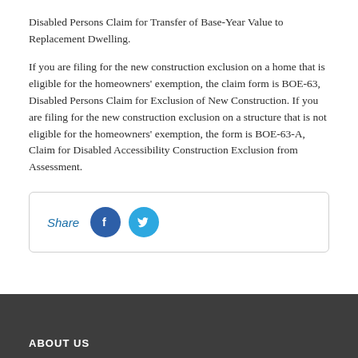Disabled Persons Claim for Transfer of Base-Year Value to Replacement Dwelling.
If you are filing for the new construction exclusion on a home that is eligible for the homeowners' exemption, the claim form is BOE-63, Disabled Persons Claim for Exclusion of New Construction. If you are filing for the new construction exclusion on a structure that is not eligible for the homeowners' exemption, the form is BOE-63-A, Claim for Disabled Accessibility Construction Exclusion from Assessment.
[Figure (other): Share buttons box with Facebook and Twitter circular icon buttons and italic 'Share' label]
ABOUT US